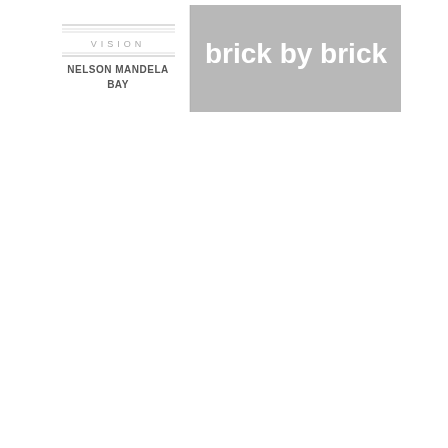[Figure (logo): A document cover image showing two panels: left panel is white with small decorative lines at top, 'VISION' text in spaced letters, and 'NELSON MANDELA BAY' in bold text below; right panel is light grey with large bold white text 'brick by brick'.]